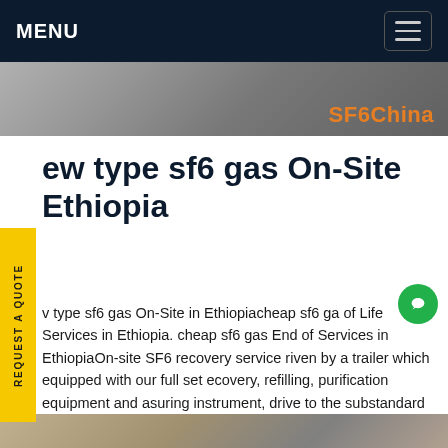MENU
[Figure (photo): Banner photo of stone/tile pavement with SF6China brand text in orange at bottom right]
ew type sf6 gas On-Site Ethiopia
v type sf6 gas On-Site in Ethiopiacheap sf6 ga of Life Services in Ethiopia. cheap sf6 gas End of Services in EthiopiaOn-site SF6 recovery service riven by a trailer which equipped with our full set ecovery, refilling, purification equipment and asuring instrument, drive to the substandard gas npartment, perform onsite shutdown and maintenance, directly recover unqualified SF6 gas, recycle and purify themGet price
[Figure (photo): Partial photo visible at the bottom of the page]